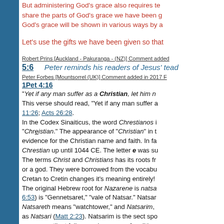But administering God's grace also requires te share the parts of God's grace we have been g God's grace will be shown in various ways by a
Let's use the gifts we have been given so that
Robert Prins [Auckland - Pakuranga - (NZ)] Comment added
5:6 Peter reminds his readers of Jesus' teac
Peter Forbes [Mountsorrel (UK)] Comment added in 2017
1Pet 4:16
"Yet if any man suffer as a Christian, let him n This verse should read, "Yet if any man suffer a 11:26; Acts 26:28. In the Codex Sinaiticus, the word Chrestianos "Chreistian." The appearance of "Christian" in t evidence for the Christian name and faith. In fa Chrestian up until 1044 CE. The letter e was s The terms Christ and Christians has its roots fr or a god. They were borrowed from the vocabu Cretan to Cretin changes it's meaning entirely! The original Hebrew root for Nazarene is natsa 6:53) is "Gennetsaret," "vale of Natsar." Natsar Natsareth means "watchtower," and Natsarim, as Natsari (Matt 2:23). Natsarim is the sect spo man a pestilent fellow, and a mover of sedition Nazarenes [Natsarim]." The early followers of Christ were from the sec <139>, from which we get the word, "heresy." T of heretical teachers! Later, it was the anti-She Natsarim as heretics adhering strictly to Jewish